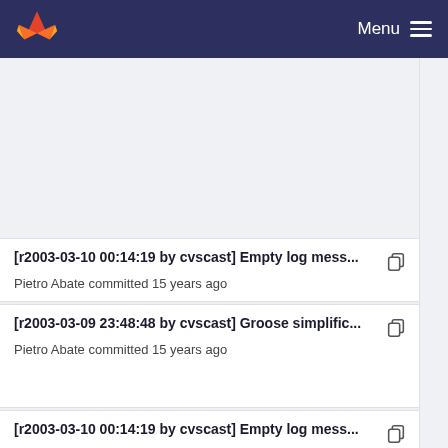Menu
[r2003-03-10 00:14:19 by cvscast] Empty log mess...
Pietro Abate committed 15 years ago
[r2003-03-09 23:48:48 by cvscast] Groose simplific...
Pietro Abate committed 15 years ago
[r2003-03-10 00:14:19 by cvscast] Empty log mess...
Pietro Abate committed 15 years ago
[r2003-03-09 23:48:48 by cvscast] Groose simplific...
Pietro Abate committed 15 years ago